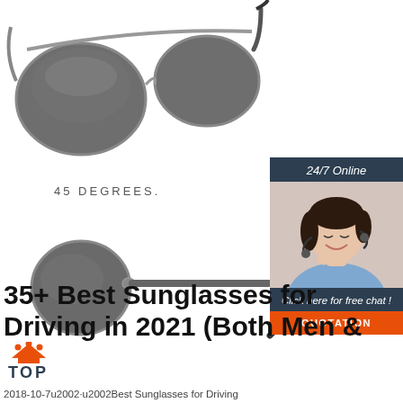[Figure (photo): Aviator sunglasses shown from 45-degree angle, dark lenses with metal frame on white background]
45 DEGREES.
[Figure (photo): Side-profile view of aviator sunglasses showing slim frame and temple arms]
[Figure (infographic): Ad box: '24/7 Online' header, photo of smiling woman with headset, 'Click here for free chat!' text, orange QUOTATION button]
35+ Best Sunglasses for Driving in 2021 (Both Men &
2018-10-7u2002·u2002Best Sunglasses for Driving